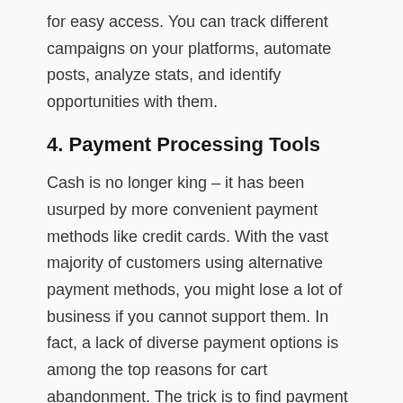for easy access. You can track different campaigns on your platforms, automate posts, analyze stats, and identify opportunities with them.
4. Payment Processing Tools
Cash is no longer king – it has been usurped by more convenient payment methods like credit cards. With the vast majority of customers using alternative payment methods, you might lose a lot of business if you cannot support them. In fact, a lack of diverse payment options is among the top reasons for cart abandonment. The trick is to find payment processing solutions that your customers will